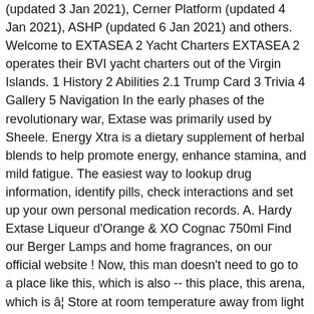(updated 3 Jan 2021), Cerner Platform (updated 4 Jan 2021), ASHP (updated 6 Jan 2021) and others. Welcome to EXTASEA 2 Yacht Charters EXTASEA 2 operates their BVI yacht charters out of the Virgin Islands. 1 History 2 Abilities 2.1 Trump Card 3 Trivia 4 Gallery 5 Navigation In the early phases of the revolutionary war, Extase was primarily used by Sheele. Energy Xtra is a dietary supplement of herbal blends to help promote energy, enhance stamina, and mild fatigue. The easiest way to lookup drug information, identify pills, check interactions and set up your own personal medication records. A. Hardy Extase Liqueur d'Orange & XO Cognac 750ml Find our Berger Lamps and home fragrances, on our official website ! Now, this man doesn't need to go to a place like this, which is also -- this place, this arena, which is â¦ Store at room temperature away from light and moisture. Dosage is based on your medical condition, response to treatment, and other medications you may be taking. High purity branched acetate esters, specialty solvent for coatings and carrier for actives in pesticide formulations. Data sources include IBM Watson Micromedex (updated 6 Jan 2021), Cerner